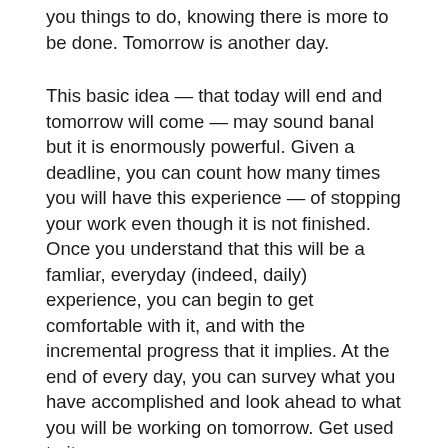you things to do, knowing there is more to be done. Tomorrow is another day.
This basic idea — that today will end and tomorrow will come — may sound banal but it is enormously powerful. Given a deadline, you can count how many times you will have this experience — of stopping your work even though it is not finished. Once you understand that this will be a famliar, everyday (indeed, daily) experience, you can begin to get comfortable with it, and with the incremental progress that it implies. At the end of every day, you can survey what you have accomplished and look ahead to what you will be working on tomorrow. Get used to it.
I recommend you do this a few hours before you go to bed. Late afternoon or early evening is a perfectly reasonable time to call it a day. I understand that many students think they need to stay up late but, since you do have to get your sleep, that really just means shifting the day by a few hours.